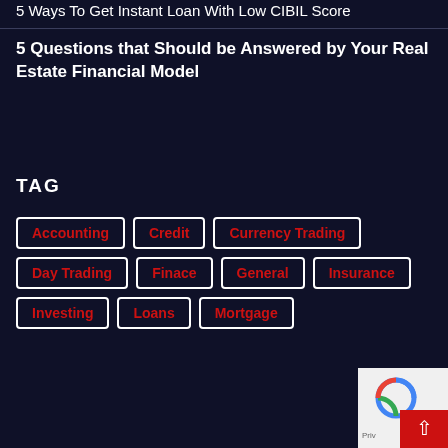5 Ways To Get Instant Loan With Low CIBIL Score
5 Questions that Should be Answered by Your Real Estate Financial Model
TAG
Accounting
Credit
Currency Trading
Day Trading
Finace
General
Insurance
Investing
Loans
Mortgage
[Figure (logo): reCAPTCHA logo widget with Privacy text and scroll-to-top red button]